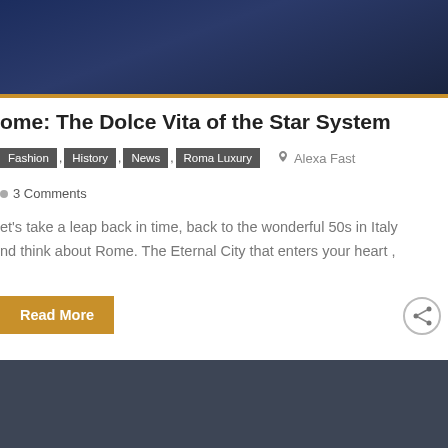[Figure (photo): Dark blue-toned photograph of people, partially visible at top of page]
ome: The Dolce Vita of the Star System
Fashion , History , News , Roma Luxury   Alexa Fast
0  3 Comments
et's take a leap back in time, back to the wonderful 50s in Italy nd think about Rome. The Eternal City that enters your heart ,
Read More